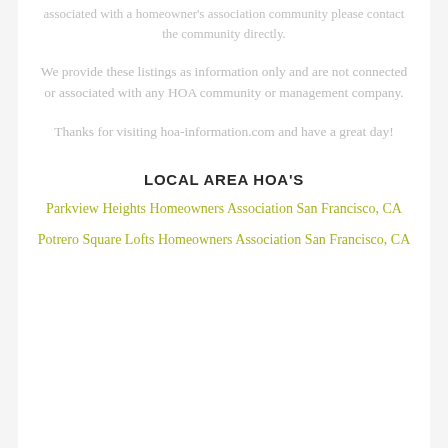associated with a homeowner's association community please contact the community directly.
We provide these listings as information only and are not connected or associated with any HOA community or management company.
Thanks for visiting hoa-information.com and have a great day!
LOCAL AREA HOA'S
Parkview Heights Homeowners Association San Francisco, CA
Potrero Square Lofts Homeowners Association San Francisco, CA